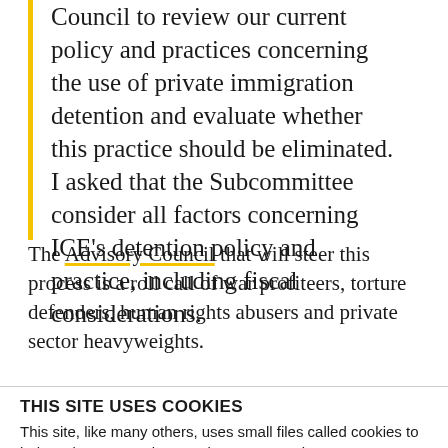Council to review our current policy and practices concerning the use of private immigration detention and evaluate whether this practice should be eliminated. I asked that the Subcommittee consider all factors concerning ICE's detention policy and practice, including fiscal considerations.
The Advisory Council that will steer this process is a roll call of war profiteers, torture defenders, human rights abusers and private sector heavyweights.
THIS SITE USES COOKIES
This site, like many others, uses small files called cookies to help us improve and customize your experience. Learn more about how we use cookies in our cookie policy.
Learn more about cookies  OK